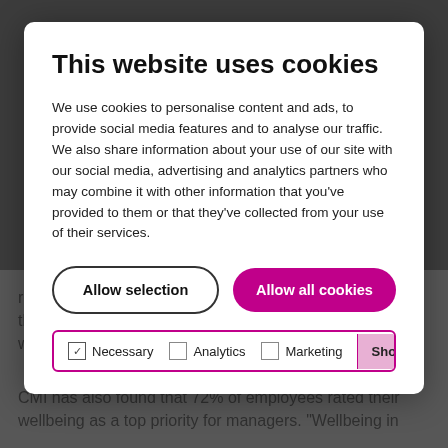This website uses cookies
We use cookies to personalise content and ads, to provide social media features and to analyse our traffic. We also share information about your use of our site with our social media, advertising and analytics partners who may combine it with other information that you've provided to them or that they've collected from your use of their services.
research, almost two-thirds (62%) of managers believe the wellbeing/mental health of their team had been or would be impacted by a return to the workplace.
CMI has also found that 72% of employees rated their wellbeing as a top priority for managers. "Wellbeing in